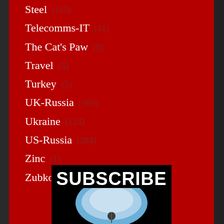Steel (110)
Telecomms-IT (41)
The Cat's Paw (8)
Travel (5)
Turkey (5)
UK-Russia (100)
Ukraine (124)
US-Russia (384)
Zinc (1)
Zubkov (4)
[Figure (illustration): SUBSCRIBE advertisement image with large bold white text on black background and a blue circular element below]